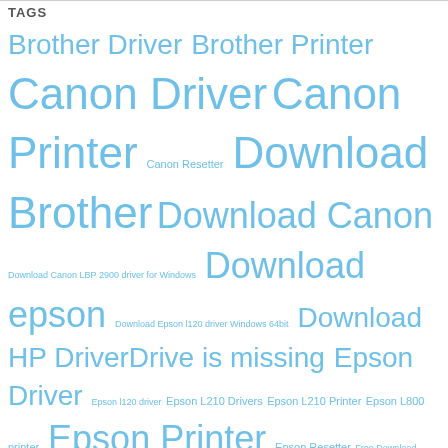TAGS
[Figure (infographic): A tag cloud with printer/driver related tags in varying sizes of blue text, including: Brother Driver, Brother Printer, Canon Driver, Canon Printer, Canon Resetter, Download Brother, Download Canon, Download Canon LBP 2900 driver for Windows, Download epson, Download Epson l120 driver Windows 64bit, Download HP Driver, Drive is missing, Epson Driver, Epson l120 driver, Epson L210 Drivers, Epson L210 Printer, Epson L800 printer, Epson Printer, Epson Resetter, Free Download Canon LBP 2900 driver, HP driver, HP Printer, HP printer driver, install brother printer, install canon printer, Install epson printer, Install HP Printer driver, Printer Repair, Red light blinking, Reset Epson, Review Epson, Review Printer, The Printer's Ink Pads at the end of Their service life, Waste Ink Counter, Windows 7 Driver, Windows 8 driver, Windows 10 driver]
Follow @driverscentre